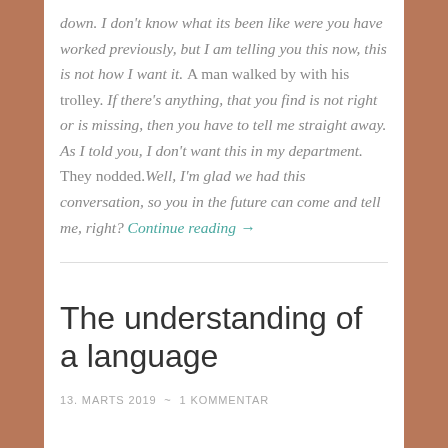down. I don't know what its been like were you have worked previously, but I am telling you this now, this is not how I want it. A man walked by with his trolley. If there's anything, that you find is not right or is missing, then you have to tell me straight away. As I told you, I don't want this in my department. They nodded.Well, I'm glad we had this conversation, so you in the future can come and tell me, right? Continue reading →
The understanding of a language
13. MARTS 2019 ~ 1 KOMMENTAR